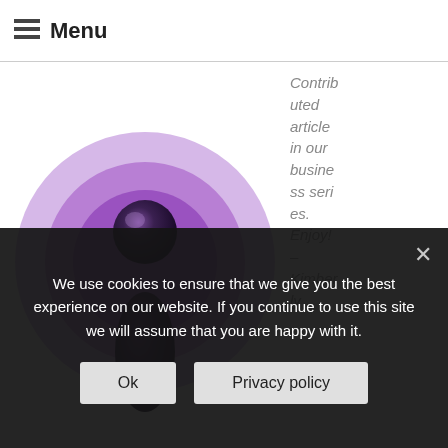☰ Menu
[Figure (illustration): Purple podcast/iTunes-style icon showing a stylized person silhouette with concentric radio wave arcs above, on a light purple circular background]
Contributed article in our business series. Enjoy! – Kimberly
We use cookies to ensure that we give you the best experience on our website. If you continue to use this site we will assume that you are happy with it.
Ok
Privacy policy